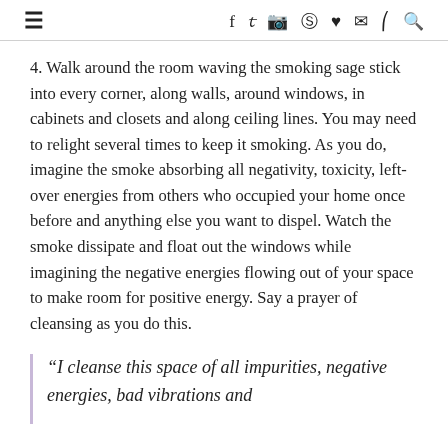≡  f  y  ⊡  ⊕  ♥  ✉  )))  🔍
4. Walk around the room waving the smoking sage stick into every corner, along walls, around windows, in cabinets and closets and along ceiling lines. You may need to relight several times to keep it smoking. As you do, imagine the smoke absorbing all negativity, toxicity, left-over energies from others who occupied your home once before and anything else you want to dispel. Watch the smoke dissipate and float out the windows while imagining the negative energies flowing out of your space to make room for positive energy. Say a prayer of cleansing as you do this.
“I cleanse this space of all impurities, negative energies, bad vibrations and